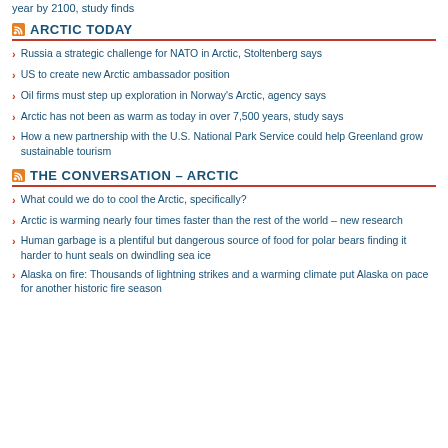year by 2100, study finds
ARCTIC TODAY
Russia a strategic challenge for NATO in Arctic, Stoltenberg says
US to create new Arctic ambassador position
Oil firms must step up exploration in Norway's Arctic, agency says
Arctic has not been as warm as today in over 7,500 years, study says
How a new partnership with the U.S. National Park Service could help Greenland grow sustainable tourism
THE CONVERSATION – ARCTIC
What could we do to cool the Arctic, specifically?
Arctic is warming nearly four times faster than the rest of the world – new research
Human garbage is a plentiful but dangerous source of food for polar bears finding it harder to hunt seals on dwindling sea ice
Alaska on fire: Thousands of lightning strikes and a warming climate put Alaska on pace for another historic fire season